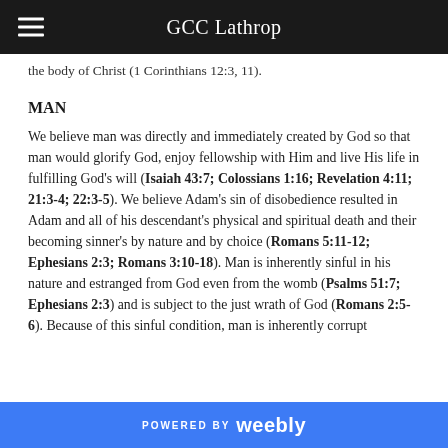GCC Lathrop
the body of Christ (1 Corinthians 12:3, 11).
MAN
We believe man was directly and immediately created by God so that man would glorify God, enjoy fellowship with Him and live His life in fulfilling God's will (Isaiah 43:7; Colossians 1:16; Revelation 4:11; 21:3-4; 22:3-5). We believe Adam's sin of disobedience resulted in Adam and all of his descendant's physical and spiritual death and their becoming sinner's by nature and by choice (Romans 5:11-12; Ephesians 2:3; Romans 3:10-18). Man is inherently sinful in his nature and estranged from God even from the womb (Psalms 51:7; Ephesians 2:3) and is subject to the just wrath of God (Romans 2:5-6). Because of this sinful condition, man is inherently corrupt
POWERED BY weebly